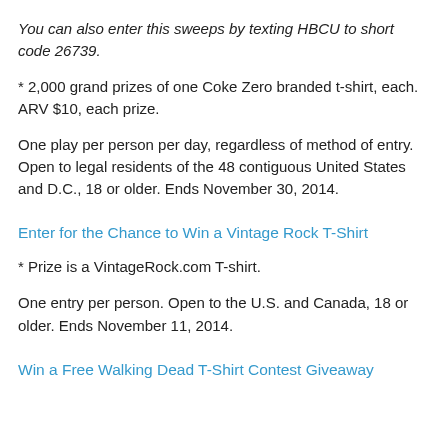You can also enter this sweeps by texting HBCU to short code 26739.
* 2,000 grand prizes of one Coke Zero branded t-shirt, each. ARV $10, each prize.
One play per person per day, regardless of method of entry. Open to legal residents of the 48 contiguous United States and D.C., 18 or older. Ends November 30, 2014.
Enter for the Chance to Win a Vintage Rock T-Shirt
* Prize is a VintageRock.com T-shirt.
One entry per person. Open to the U.S. and Canada, 18 or older. Ends November 11, 2014.
Win a Free Walking Dead T-Shirt Contest Giveaway